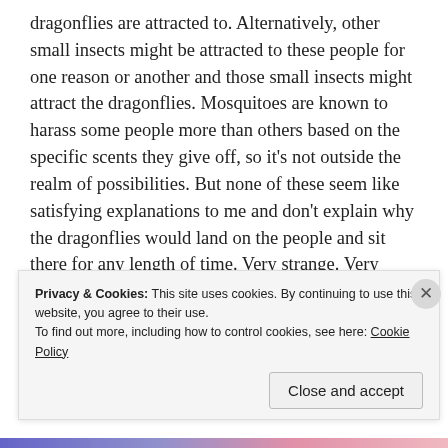dragonflies are attracted to. Alternatively, other small insects might be attracted to these people for one reason or another and those small insects might attract the dragonflies. Mosquitoes are known to harass some people more than others based on the specific scents they give off, so it's not outside the realm of possibilities. But none of these seem like satisfying explanations to me and don't explain why the dragonflies would land on the people and sit there for any length of time. Very strange. Very strange indeed!
[Figure (photo): Photo of a man in a beige shirt, cropped into a rounded/oval shape, appearing in the upper right area of the lower section of the page]
Privacy & Cookies: This site uses cookies. By continuing to use this website, you agree to their use.
To find out more, including how to control cookies, see here: Cookie Policy